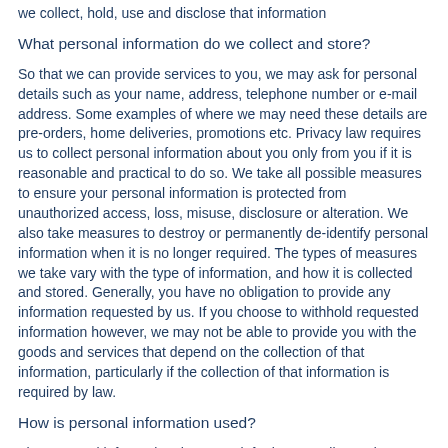we collect, hold, use and disclose that information
What personal information do we collect and store?
So that we can provide services to you, we may ask for personal details such as your name, address, telephone number or e-mail address. Some examples of where we may need these details are pre-orders, home deliveries, promotions etc. Privacy law requires us to collect personal information about you only from you if it is reasonable and practical to do so. We take all possible measures to ensure your personal information is protected from unauthorized access, loss, misuse, disclosure or alteration. We also take measures to destroy or permanently de-identify personal information when it is no longer required. The types of measures we take vary with the type of information, and how it is collected and stored. Generally, you have no obligation to provide any information requested by us. If you choose to withhold requested information however, we may not be able to provide you with the goods and services that depend on the collection of that information, particularly if the collection of that information is required by law.
How is personal information used?
The personal information that we ask for is generally used to provide goods or services to you. For example, for a credit card transaction we need your card number. Where possible, we try to ensure that our disclosure of